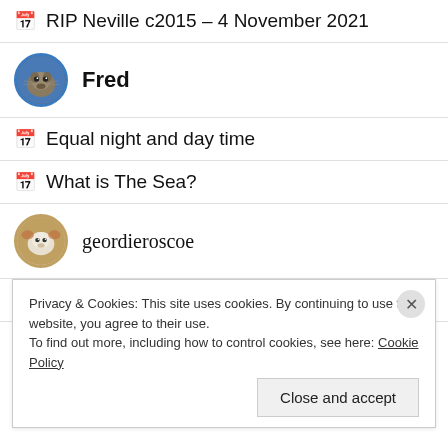RIP Neville c2015 – 4 November 2021
Fred (user avatar)
Equal night and day time
What is The Sea?
geordieroscoe (user avatar)
Thank you for helping us raise lots of money
Privacy & Cookies: This site uses cookies. By continuing to use this website, you agree to their use.
To find out more, including how to control cookies, see here: Cookie Policy
Close and accept